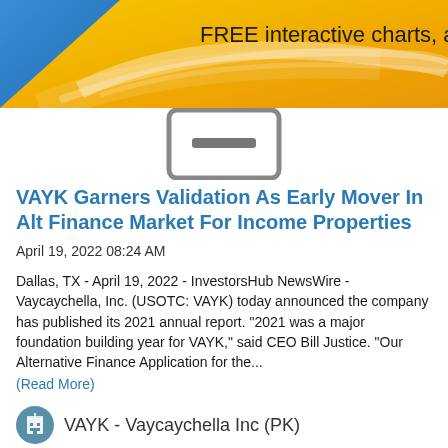[Figure (illustration): Banner with blue and yellow/gold gradient background with abstract flowing light streaks, containing text 'FREE interactive charts, analy' (cropped). A blue triangular shape is on the left.]
[Figure (illustration): Gray rounded rectangle device icon (tablet/monitor) with a horizontal bar in the center, shown partially below the banner.]
VAYK Garners Validation As Early Mover In Alt Finance Market For Income Properties
April 19, 2022 08:24 AM
Dallas, TX - April 19, 2022 - InvestorsHub NewsWire - Vaycaychella, Inc. (USOTC: VAYK) today announced the company has published its 2021 annual report. “2021 was a major foundation building year for VAYK,” said CEO Bill Justice. “Our Alternative Finance Application for the...
(Read More)
[Figure (logo): Circular teal/blue icon with a building/office tower symbol inside, representing VAYK - Vaycaychella Inc company logo]
VAYK - Vaycaychella Inc (PK)
More News   Level 2   Message Board